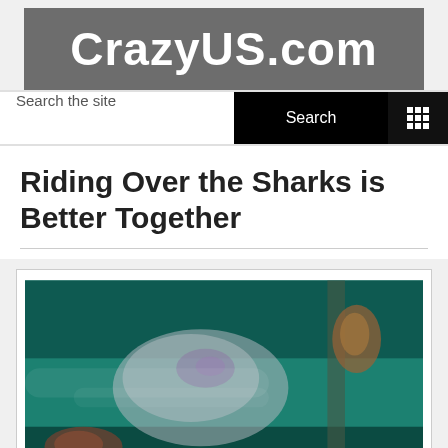CrazyUS.com
Search the site  Search
Riding Over the Sharks is Better Together
[Figure (photo): Blurry underwater/aquarium photo showing what appears to be a shark or marine animal, with teal/green water background and some reddish elements visible.]